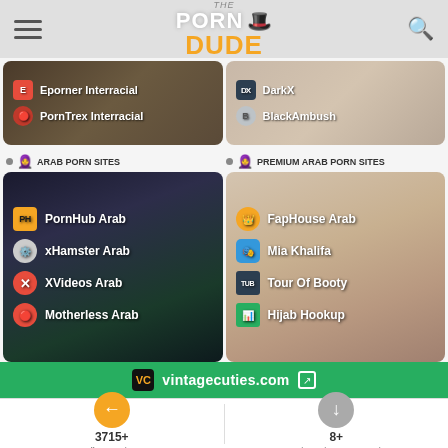The Porn Dude
[Figure (screenshot): Two thumbnail cards showing interracial porn sites: Eporner Interracial, PornTrex Interracial (left), DarkX, BlackAmbush (right)]
ARAB PORN SITES
PREMIUM ARAB PORN SITES
[Figure (screenshot): Two thumbnail cards showing arab porn sites: PornHub Arab, xHamster Arab, XVideos Arab, Motherless Arab (left), FapHouse Arab, Mia Khalifa, Tour Of Booty, Hijab Hookup (right)]
vintagecuties.com
3715+ All Porn Sites
8+ Premium Vintage Porn Sites